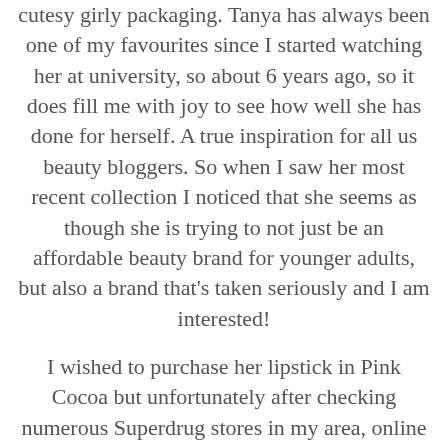cutesy girly packaging. Tanya has always been one of my favourites since I started watching her at university, so about 6 years ago, so it does fill me with joy to see how well she has done for herself. A true inspiration for all us beauty bloggers. So when I saw her most recent collection I noticed that she seems as though she is trying to not just be an affordable beauty brand for younger adults, but also a brand that's taken seriously and I am interested!
I wished to purchase her lipstick in Pink Cocoa but unfortunately after checking numerous Superdrug stores in my area, online at Superdrug and Feel Unique I had to give up, but it is my mission to get my hands on it, and I will be sure to do a review. So I went for my second choice, which thank goodness was available. The eyeshadow quad in